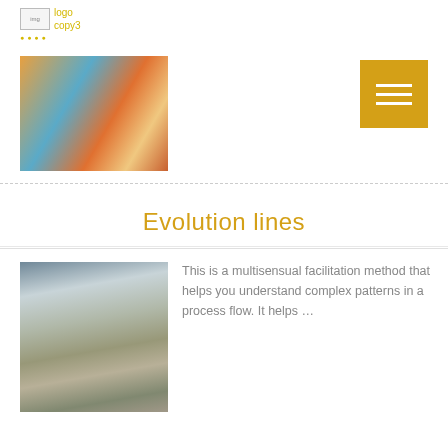[Figure (logo): Logo placeholder image with text 'logo copy3' in yellow/gold color]
[Figure (photo): Overhead photo of a table with colorful craft materials, bowls, notebooks and small objects]
[Figure (other): Gold/amber colored square button with three horizontal white lines (hamburger menu icon)]
Evolution lines
[Figure (photo): Photo of three people standing on a snow-covered landscape near water, with colorful small objects in the snow foreground]
This is a multisensual facilitation method that helps you understand complex patterns in a process flow. It helps …